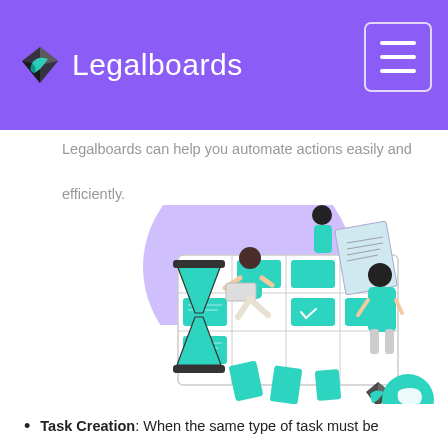Legalboards
Legalboards can help you automate actions easily and efficiently.
[Figure (illustration): Illustration of three people working around a Kanban-style board with teal-colored cards and sticky notes, with an hourglass in the foreground and a purple semicircle background element. Bottom right corner shows the Legalboards logo icon and a teal chat bubble button.]
Task Creation: When the same type of task must be